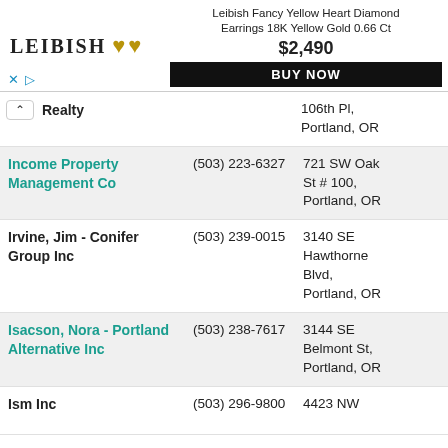[Figure (other): Advertisement banner for Leibish Fancy Yellow Heart Diamond Earrings 18K Yellow Gold 0.66 Ct, priced at $2,490, with a BUY NOW button]
Realty | 106th Pl, Portland, OR
Income Property Management Co | (503) 223-6327 | 721 SW Oak St # 100, Portland, OR
Irvine, Jim - Conifer Group Inc | (503) 239-0015 | 3140 SE Hawthorne Blvd, Portland, OR
Isacson, Nora - Portland Alternative Inc | (503) 238-7617 | 3144 SE Belmont St, Portland, OR
Ism Inc | (503) 296-9800 | 4423 NW